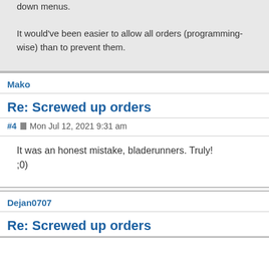down menus. It would've been easier to allow all orders (programming-wise) than to prevent them.
Mako
Re: Screwed up orders
#4 Mon Jul 12, 2021 9:31 am
It was an honest mistake, bladerunners. Truly! ;0)
Dejan0707
Re: Screwed up orders